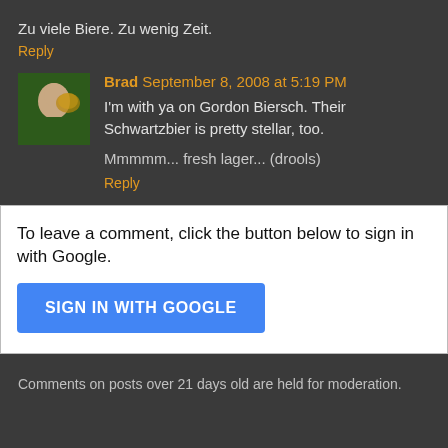Zu viele Biere. Zu wenig Zeit.
Reply
Brad September 8, 2008 at 5:19 PM
I'm with ya on Gordon Biersch. Their Schwartzbier is pretty stellar, too.
Mmmmm... fresh lager... (drools)
Reply
To leave a comment, click the button below to sign in with Google.
SIGN IN WITH GOOGLE
Comments on posts over 21 days old are held for moderation.